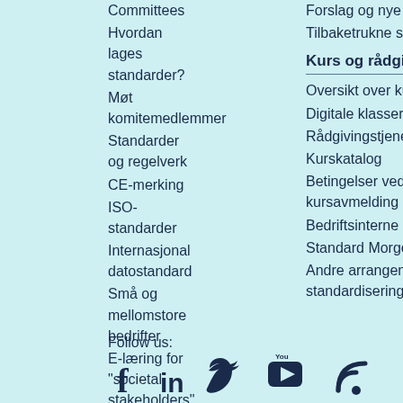Committees
Hvordan lages standarder?
Møt komitemedlemmer
Standarder og regelverk
CE-merking
ISO-standarder
Internasjonal datostandard
Små og mellomstore bedrifter
E-læring for "societal stakeholders"
Suksesshistorier
Forslag og nye standarder
Tilbaketrukne standarder
Kurs og rådgiving
Oversikt over kurs
Digitale klasserom på ZOO
Rådgivingstjenester
Kurskatalog
Betingelser ved kursavmelding
Bedriftsinterne kurs
Standard Morgen
Andre arrangementer og standardiseringskurs
Follow us:
[Figure (other): Social media icons: Facebook, LinkedIn, Twitter, YouTube, and RSS feed icons]